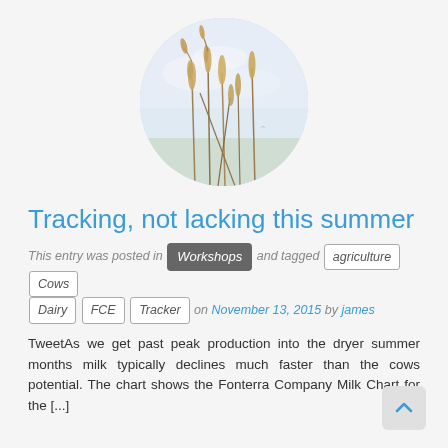[Figure (photo): Circular cropped photo of wild grass/grain stalks against a bright sky background]
Tracking, not lacking this summer
This entry was posted in Workshops and tagged agriculture Cows Dairy FCE Tracker on November 13, 2015 by james
TweetAs we get past peak production into the dryer summer months milk typically declines much faster than the cows potential. The chart shows the Fonterra Company Milk Chart for the [...]